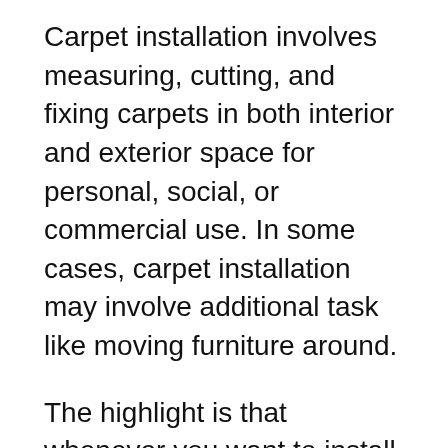Carpet installation involves measuring, cutting, and fixing carpets in both interior and exterior space for personal, social, or commercial use. In some cases, carpet installation may involve additional task like moving furniture around.
The highlight is that whenever you want to install new carpets, there are professionals who can get it done for you.
Usually, there is no need for academic qualifications; the skills needed are taught and learnt on the job.